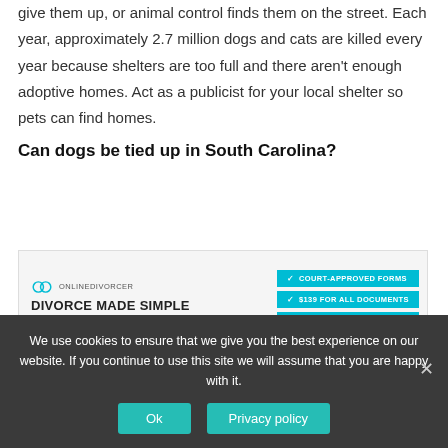The main reasons animals are in shelters: owners give them up, or animal control finds them on the street. Each year, approximately 2.7 million dogs and cats are killed every year because shelters are too full and there aren't enough adoptive homes. Act as a publicist for your local shelter so pets can find homes.
Can dogs be tied up in South Carolina?
[Figure (screenshot): Advertisement for OnlineDivorcer - Divorce Made Simple, with GET STARTED button and features: Court-Approved Forms, $139 For All Documents, Filing Instructions, 24/7 Customer Support]
We use cookies to ensure that we give you the best experience on our website. If you continue to use this site we will assume that you are happy with it.